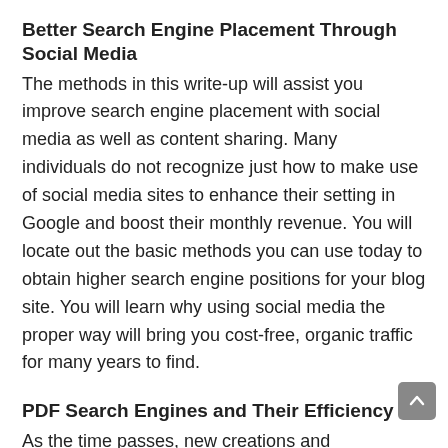Better Search Engine Placement Through Social Media
The methods in this write-up will assist you improve search engine placement with social media as well as content sharing. Many individuals do not recognize just how to make use of social media sites to enhance their setting in Google and boost their monthly revenue. You will locate out the basic methods you can use today to obtain higher search engine positions for your blog site. You will learn why using social media the proper way will bring you cost-free, organic traffic for many years to find.
PDF Search Engines and Their Efficiency
As the time passes, new creations and improvements in modern technologies are called for. Male was never ever able to meet this way, unless supported by details technology. first, information modern technology was particularly